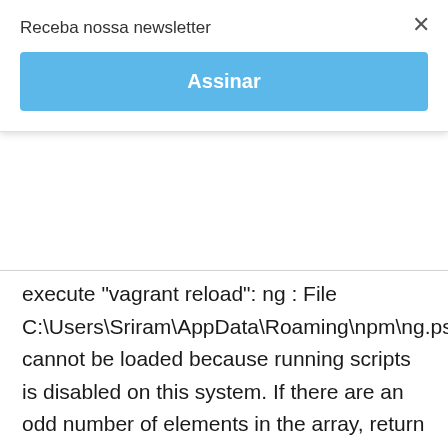Receba nossa newsletter
Assinar
execute "vagrant reload": ng : File C:\Users\Sriram\AppData\Roaming\npm\ng.ps1 cannot be loaded because running scripts is disabled on this system. If there are an odd number of elements in the array, return the element in the middle of the array. *, /** You can document properties of params, like options.count and options.separator in this example. It's the de facto standard for documenting JavaScript, and is supported by a lot of tools and editors. what is lexicographically smallest string, what is the blood vessel that carries oxygenand nutrients to the heart muscle